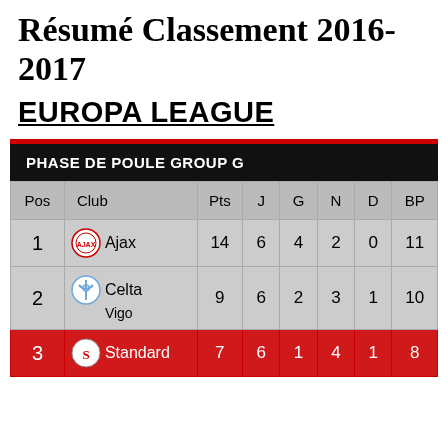Résumé Classement 2016-2017
EUROPA LEAGUE
| Pos | Club | Pts | J | G | N | D | BP |
| --- | --- | --- | --- | --- | --- | --- | --- |
| 1 | Ajax | 14 | 6 | 4 | 2 | 0 | 11 |
| 2 | Celta Vigo | 9 | 6 | 2 | 3 | 1 | 10 |
| 3 | Standard | 7 | 6 | 1 | 4 | 1 | 8 |